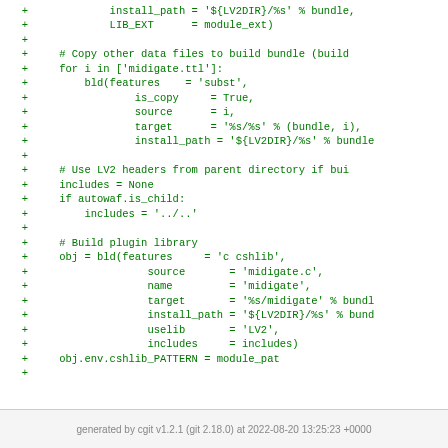+ install_path = '${LV2DIR}/%s' % bundle,
+ LIB_EXT = module_ext)
+
+ # Copy other data files to build bundle (build
+ for i in ['midigate.ttl']:
+ bld(features = 'subst',
+ is_copy = True,
+ source = i,
+ target = '%s/%s' % (bundle, i),
+ install_path = '${LV2DIR}/%s' % bundle
+
+ # Use LV2 headers from parent directory if bui
+ includes = None
+ if autowaf.is_child:
+ includes = '../..'
+
+ # Build plugin library
+ obj = bld(features = 'c cshlib',
+ source = 'midigate.c',
+ name = 'midigate',
+ target = '%s/midigate' % bundl
+ install_path = '${LV2DIR}/%s' % bund
+ uselib = 'LV2',
+ includes = includes)
+ obj.env.cshlib_PATTERN = module_pat
+
generated by cgit v1.2.1 (git 2.18.0) at 2022-08-20 13:25:23 +0000